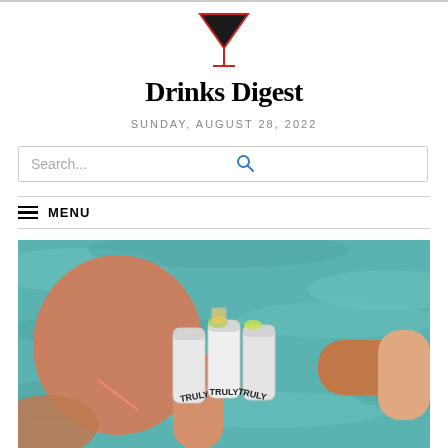[Figure (logo): Martini glass logo icon in red and black]
Drinks Digest
SUNDAY, AUGUST 28, 2022
Search...
MENU
[Figure (photo): People clinking cans of Truly hard seltzer in a pool, aerial view showing tanned hands holding silver cans with lime garnishes against blue water background]